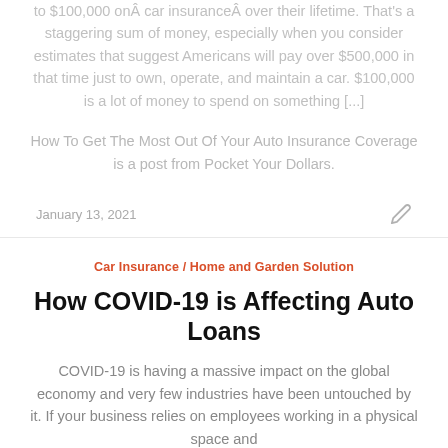to $100,000 onÂ car insuranceÂ over their lifetime. That’s a staggering sum of money, especially when you consider estimates that suggest Americans will pay over $500,000 in that time just to own, operate, and maintain a car. $100,000 is a lot of money to spend on something [...]
How To Get The Most Out Of Your Auto Insurance Coverage is a post from Pocket Your Dollars.
January 13, 2021
Car Insurance / Home and Garden Solution
How COVID-19 is Affecting Auto Loans
COVID-19 is having a massive impact on the global economy and very few industries have been untouched by it. If your business relies on employees working in a physical space and